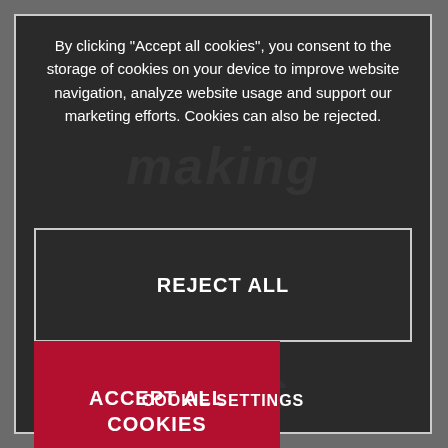By clicking "Accept all cookies", you consent to the storage of cookies on your device to improve website navigation, analyze website usage and support our marketing efforts. Cookies can also be rejected.
REJECT ALL
ACCEPT ALL COOKIES
COOKIE SETTINGS